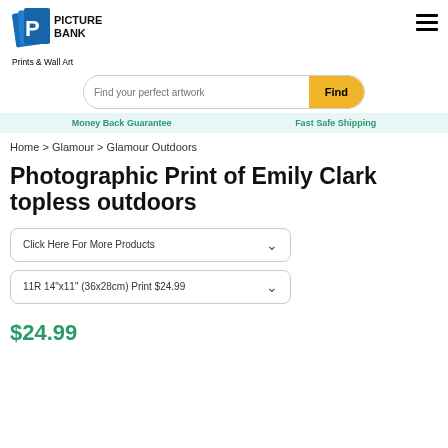[Figure (logo): Picture Bank logo with stylized blue P icon and bold text PICTURE BANK]
Prints & Wall Art
Find your perfect artwork
Money Back Guarantee    Fast Safe Shipping
Home > Glamour > Glamour Outdoors
Photographic Print of Emily Clark topless outdoors
Click Here For More Products
11R 14"x11" (36x28cm) Print $24.99
$24.99